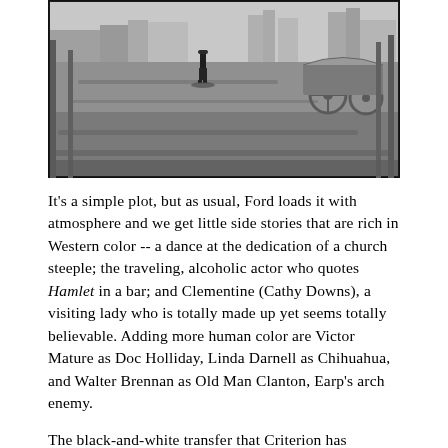[Figure (photo): Black-and-white still photograph from a Western film showing a lone man walking down a wide dirt main street of an Old West town. Covered wagons and wooden structures are visible in the background.]
It's a simple plot, but as usual, Ford loads it with atmosphere and we get little side stories that are rich in Western color -- a dance at the dedication of a church steeple; the traveling, alcoholic actor who quotes Hamlet in a bar; and Clementine (Cathy Downs), a visiting lady who is totally made up yet seems totally believable. Adding more human color are Victor Mature as Doc Holliday, Linda Darnell as Chihuahua, and Walter Brennan as Old Man Clanton, Earp's arch enemy.
The black-and-white transfer that Criterion has provided is simply wonderful. Ford loved to shoot in Monument Valley, and its mesas are boldly delineated in scene after scene. All the details of western clothing are crisp, and the grizzled beards of the men have great